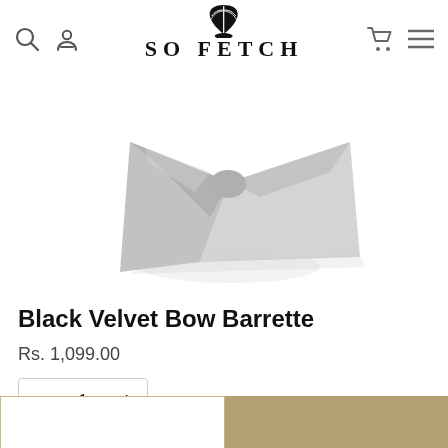SO FETCH
[Figure (photo): A gray/silver velvet bow barrette hair accessory photographed on a white background, shown at an angle revealing its folded bow shape.]
Black Velvet Bow Barrette
Rs. 1,099.00
— 1 +